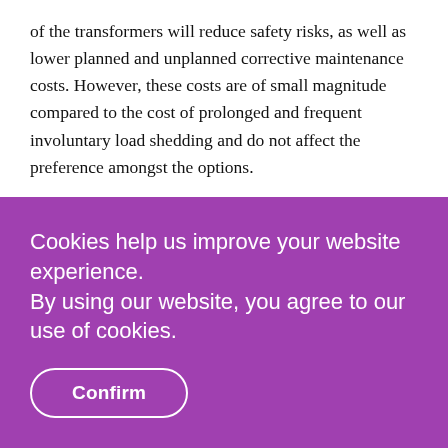of the transformers will reduce safety risks, as well as lower planned and unplanned corrective maintenance costs. However, these costs are of small magnitude compared to the cost of prolonged and frequent involuntary load shedding and do not affect the preference amongst the options.
Cookies help us improve your website experience.
By using our website, you agree to our use of cookies.
Confirm